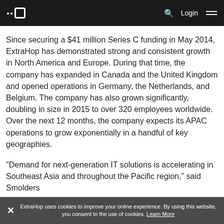ExtraHop logo navigation bar with Login and menu
Since securing a $41 million Series C funding in May 2014, ExtraHop has demonstrated strong and consistent growth in North America and Europe. During that time, the company has expanded in Canada and the United Kingdom and opened operations in Germany, the Netherlands, and Belgium. The company has also grown significantly, doubling in size in 2015 to over 320 employees worldwide. Over the next 12 months, the company expects its APAC operations to grow exponentially in a handful of key geographies.
"Demand for next-generation IT solutions is accelerating in Southeast Asia and throughout the Pacific region," said Smolders
ExtraHop uses cookies to improve your online experience. By using this website, you consent to the use of cookies. Learn More